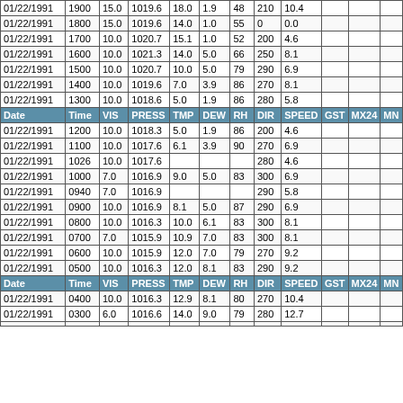| Date | Time | VIS | PRESS | TMP | DEW | RH | DIR | SPEED | GST | MX24 | MN |
| --- | --- | --- | --- | --- | --- | --- | --- | --- | --- | --- | --- |
| 01/22/1991 | 1900 | 15.0 | 1019.6 | 18.0 | 1.9 | 48 | 210 | 10.4 |  |  |  |
| 01/22/1991 | 1800 | 15.0 | 1019.6 | 14.0 | 1.0 | 55 | 0 | 0.0 |  |  |  |
| 01/22/1991 | 1700 | 10.0 | 1020.7 | 15.1 | 1.0 | 52 | 200 | 4.6 |  |  |  |
| 01/22/1991 | 1600 | 10.0 | 1021.3 | 14.0 | 5.0 | 66 | 250 | 8.1 |  |  |  |
| 01/22/1991 | 1500 | 10.0 | 1020.7 | 10.0 | 5.0 | 79 | 290 | 6.9 |  |  |  |
| 01/22/1991 | 1400 | 10.0 | 1019.6 | 7.0 | 3.9 | 86 | 270 | 8.1 |  |  |  |
| 01/22/1991 | 1300 | 10.0 | 1018.6 | 5.0 | 1.9 | 86 | 280 | 5.8 |  |  |  |
| HEADER |  |  |  |  |  |  |  |  |  |  |  |
| 01/22/1991 | 1200 | 10.0 | 1018.3 | 5.0 | 1.9 | 86 | 200 | 4.6 |  |  |  |
| 01/22/1991 | 1100 | 10.0 | 1017.6 | 6.1 | 3.9 | 90 | 270 | 6.9 |  |  |  |
| 01/22/1991 | 1026 | 10.0 | 1017.6 |  |  |  | 280 | 4.6 |  |  |  |
| 01/22/1991 | 1000 | 7.0 | 1016.9 | 9.0 | 5.0 | 83 | 300 | 6.9 |  |  |  |
| 01/22/1991 | 0940 | 7.0 | 1016.9 |  |  |  | 290 | 5.8 |  |  |  |
| 01/22/1991 | 0900 | 10.0 | 1016.9 | 8.1 | 5.0 | 87 | 290 | 6.9 |  |  |  |
| 01/22/1991 | 0800 | 10.0 | 1016.3 | 10.0 | 6.1 | 83 | 300 | 8.1 |  |  |  |
| 01/22/1991 | 0700 | 7.0 | 1015.9 | 10.9 | 7.0 | 83 | 300 | 8.1 |  |  |  |
| 01/22/1991 | 0600 | 10.0 | 1015.9 | 12.0 | 7.0 | 79 | 270 | 9.2 |  |  |  |
| 01/22/1991 | 0500 | 10.0 | 1016.3 | 12.0 | 8.1 | 83 | 290 | 9.2 |  |  |  |
| HEADER |  |  |  |  |  |  |  |  |  |  |  |
| 01/22/1991 | 0400 | 10.0 | 1016.3 | 12.9 | 8.1 | 80 | 270 | 10.4 |  |  |  |
| 01/22/1991 | 0300 | 6.0 | 1016.6 | 14.0 | 9.0 | 79 | 280 | 12.7 |  |  |  |